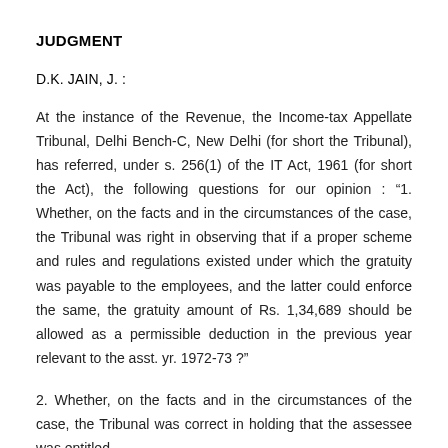JUDGMENT
D.K. JAIN, J. :
At the instance of the Revenue, the Income-tax Appellate Tribunal, Delhi Bench-C, New Delhi (for short the Tribunal), has referred, under s. 256(1) of the IT Act, 1961 (for short the Act), the following questions for our opinion : “1. Whether, on the facts and in the circumstances of the case, the Tribunal was right in observing that if a proper scheme and rules and regulations existed under which the gratuity was payable to the employees, and the latter could enforce the same, the gratuity amount of Rs. 1,34,689 should be allowed as a permissible deduction in the previous year relevant to the asst. yr. 1972-73 ?”
2. Whether, on the facts and in the circumstances of the case, the Tribunal was correct in holding that the assessee was entitled